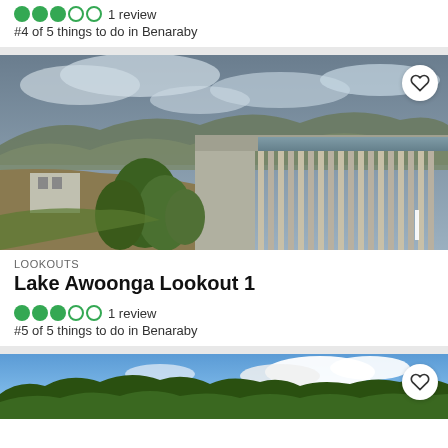1 review
#4 of 5 things to do in Benaraby
[Figure (photo): Lake Awoonga dam with concrete spillway, green trees in foreground, mountains and cloudy sky in background]
LOOKOUTS
Lake Awoonga Lookout 1
1 review
#5 of 5 things to do in Benaraby
[Figure (photo): Green forested hills under blue sky with white clouds]